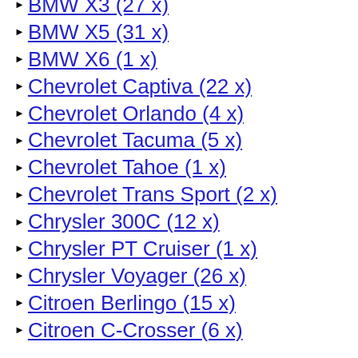BMW X3 (27 x)
BMW X5 (31 x)
BMW X6 (1 x)
Chevrolet Captiva (22 x)
Chevrolet Orlando (4 x)
Chevrolet Tacuma (5 x)
Chevrolet Tahoe (1 x)
Chevrolet Trans Sport (2 x)
Chrysler 300C (12 x)
Chrysler PT Cruiser (1 x)
Chrysler Voyager (26 x)
Citroen Berlingo (15 x)
Citroen C-Crosser (6 x)